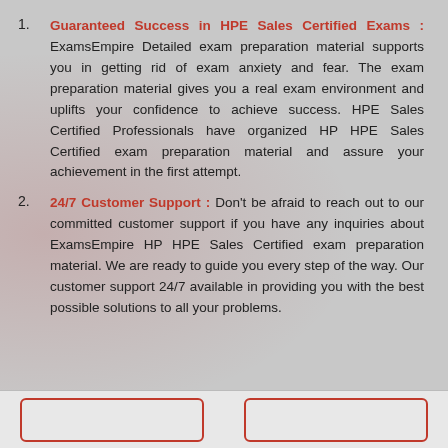Guaranteed Success in HPE Sales Certified Exams : ExamsEmpire Detailed exam preparation material supports you in getting rid of exam anxiety and fear. The exam preparation material gives you a real exam environment and uplifts your confidence to achieve success. HPE Sales Certified Professionals have organized HP HPE Sales Certified exam preparation material and assure your achievement in the first attempt.
24/7 Customer Support : Don't be afraid to reach out to our committed customer support if you have any inquiries about ExamsEmpire HP HPE Sales Certified exam preparation material. We are ready to guide you every step of the way. Our customer support 24/7 available in providing you with the best possible solutions to all your problems.